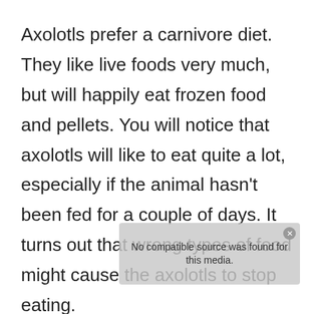Axolotls prefer a carnivore diet. They like live foods very much, but will happily eat frozen food and pellets. You will notice that axolotls will like to eat quite a lot, especially if the animal hasn't been fed for a couple of days. It turns out that wrong types of food might cause the axolotls to stop eating.
If they don't like the taste of the food, or if the bits and pieces are too big for them to swallow and eat, they will be very likely to spit
[Figure (screenshot): Video player overlay showing 'No compatible source was found for this media.' with a close button]